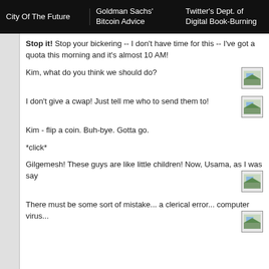City Of The Future | Goldman Sachs' Bitcoin Advice | Twitter's Dept. of Digital Book-Burning
Stop it! Stop your bickering -- I don't have time for this -- I've got a quota this morning and it's almost 10 AM!
Kim, what do you think we should do?
[Figure (photo): Small thumbnail image placeholder]
I don't give a cwap! Just tell me who to send them to!
[Figure (photo): Small thumbnail image placeholder]
Kim - flip a coin. Buh-bye. Gotta go.
*click*
Gilgemesh! These guys are like little children! Now, Usama, as I was say
[Figure (photo): Small thumbnail image placeholder]
There must be some sort of mistake... a clerical error... computer virus...
[Figure (photo): Small thumbnail image placeholder]